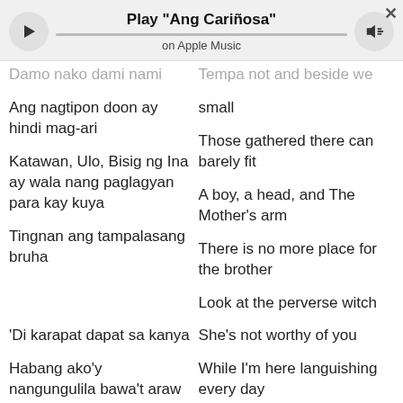[Figure (screenshot): Apple Music player bar showing Play 'Ang Cariñosa' on Apple Music with play button, progress bar, volume button, and close button]
Damo nako dami nami / Ang nagtipon doon ay hindi mag-ari / Katawan, Ulo, Bisig ng Ina ay wala nang paglagyan para kay kuya / Tingnan ang tampalasang bruha
Tempa not and beside we small / Those gathered there can barely fit / A boy, a head, and The Mother's arm / There is no more place for the brother / Look at the perverse witch
'Di karapat dapat sa kanya / Habang ako'y nangungulila bawa't araw / 'Di na hahayaan ang langit ang humusga
She's not worthy of you / While I'm here languishing every day / I won't wait for heaven's judgement
'Di ba, pangako mo
Remember, you promised me